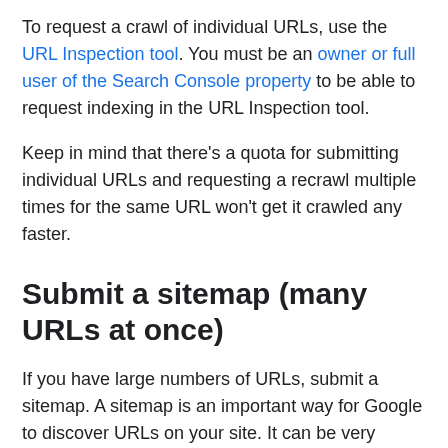To request a crawl of individual URLs, use the URL Inspection tool. You must be an owner or full user of the Search Console property to be able to request indexing in the URL Inspection tool.
Keep in mind that there's a quota for submitting individual URLs and requesting a recrawl multiple times for the same URL won't get it crawled any faster.
Submit a sitemap (many URLs at once)
If you have large numbers of URLs, submit a sitemap. A sitemap is an important way for Google to discover URLs on your site. It can be very helpful if you just launched your site or recently performed a site move. A sitemap can also include additional metadata about alternate language versions, video, image, or news-specific pages. Learn how